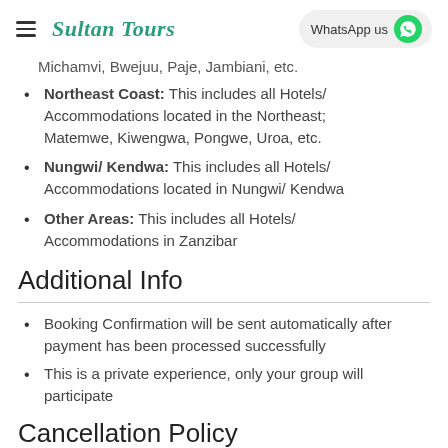Sultan Tours | WhatsApp us
Michamvi, Bwejuu, Paje, Jambiani, etc.
Northeast Coast: This includes all Hotels/Accommodations located in the Northeast; Matemwe, Kiwengwa, Pongwe, Uroa, etc.
Nungwi/ Kendwa: This includes all Hotels/Accommodations located in Nungwi/ Kendwa
Other Areas: This includes all Hotels/Accommodations in Zanzibar
Additional Info
Booking Confirmation will be sent automatically after payment has been processed successfully
This is a private experience, only your group will participate
Cancellation Policy